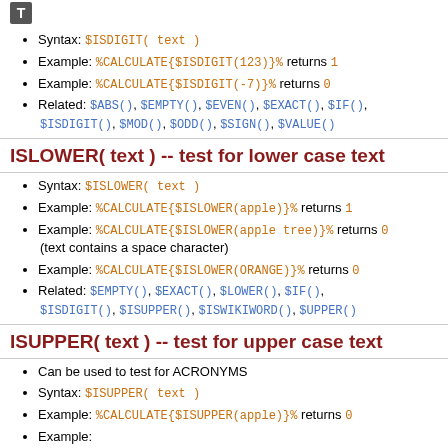Syntax: $ISDIGIT( text )
Example: %CALCULATE{$ISDIGIT(123)}% returns 1
Example: %CALCULATE{$ISDIGIT(-7)}% returns 0
Related: $ABS(), $EMPTY(), $EVEN(), $EXACT(), $IF(), $ISDIGIT(), $MOD(), $ODD(), $SIGN(), $VALUE()
ISLOWER( text ) -- test for lower case text
Syntax: $ISLOWER( text )
Example: %CALCULATE{$ISLOWER(apple)}% returns 1
Example: %CALCULATE{$ISLOWER(apple tree)}% returns 0 (text contains a space character)
Example: %CALCULATE{$ISLOWER(ORANGE)}% returns 0
Related: $EMPTY(), $EXACT(), $LOWER(), $IF(), $ISDIGIT(), $ISUPPER(), $ISWIKIWORD(), $UPPER()
ISUPPER( text ) -- test for upper case text
Can be used to test for ACRONYMS
Syntax: $ISUPPER( text )
Example: %CALCULATE{$ISUPPER(apple)}% returns 0